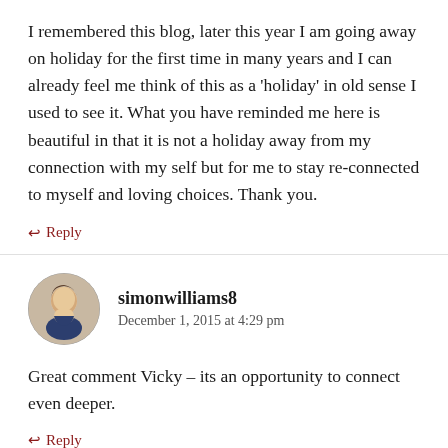I remembered this blog, later this year I am going away on holiday for the first time in many years and I can already feel me think of this as a 'holiday' in old sense I used to see it. What you have reminded me here is beautiful in that it is not a holiday away from my connection with my self but for me to stay re-connected to myself and loving choices. Thank you.
↩ Reply
simonwilliams8
December 1, 2015 at 4:29 pm
Great comment Vicky – its an opportunity to connect even deeper.
↩ Reply